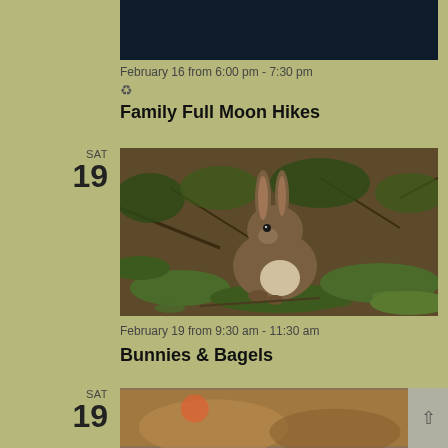[Figure (photo): Partial dark navy/black rectangular image at top, likely a night hike or moon photo]
February 16 from 6:00 pm - 7:30 pm
🔄 (recurring event icon)
Family Full Moon Hikes
SAT
19
[Figure (photo): A wild cottontail rabbit sitting on the ground surrounded by leaves, twigs, and green plants in a natural outdoor habitat]
February 19 from 9:30 am - 11:30 am
Bunnies & Bagels
SAT
19
[Figure (photo): Partial image at bottom showing an orange/brownish outdoor nature scene, partially cut off]